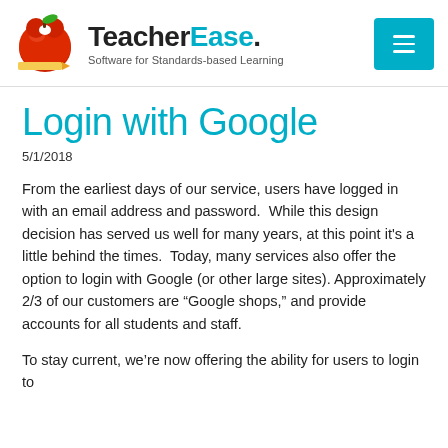[Figure (logo): TeacherEase logo with red apple and pencil graphic, text 'TeacherEase. Software for Standards-based Learning']
Login with Google
5/1/2018
From the earliest days of our service, users have logged in with an email address and password.  While this design decision has served us well for many years, at this point it's a little behind the times.  Today, many services also offer the option to login with Google (or other large sites). Approximately 2/3 of our customers are “Google shops,” and provide accounts for all students and staff.
To stay current, we’re now offering the ability for users to login to